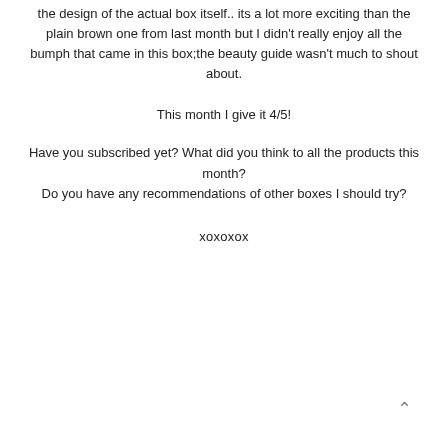the design of the actual box itself.. its a lot more exciting than the plain brown one from last month but I didn't really enjoy all the bumph that came in this box;the beauty guide wasn't much to shout about.
This month I give it 4/5!
Have you subscribed yet? What did you think to all the products this month?
Do you have any recommendations of other boxes I should try?
xoxoxox